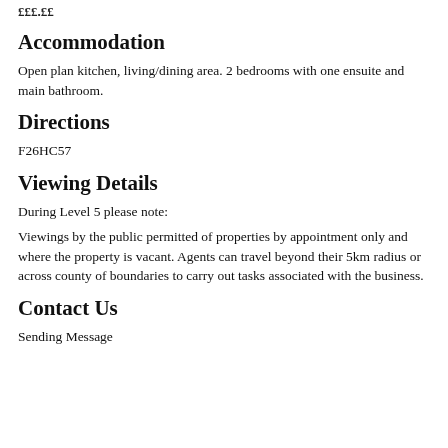£££.££
Accommodation
Open plan kitchen, living/dining area. 2 bedrooms with one ensuite and main bathroom.
Directions
F26HC57
Viewing Details
During Level 5 please note:
Viewings by the public permitted of properties by appointment only and where the property is vacant. Agents can travel beyond their 5km radius or across county of boundaries to carry out tasks associated with the business.
Contact Us
Sending Message